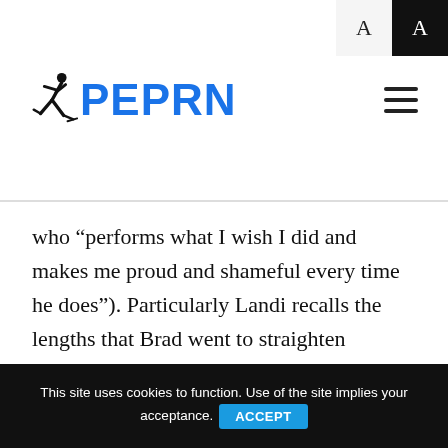[Figure (logo): PEPRN website logo with running figure icon and blue text]
who “performs what I wish I did and makes me proud and shameful every time he does”). Particularly Landi recalls the lengths that Brad went to straighten Geraldo and the power Landi gave to Geraldo so as not to be straightened. He recalls the negative role model that Brad became – the very antithesis of the teacher Landi later strove to be – and the example set by Geraldo in being himself and not supressing the brilliance of his sexuality and
This site uses cookies to function. Use of the site implies your acceptance. ACCEPT